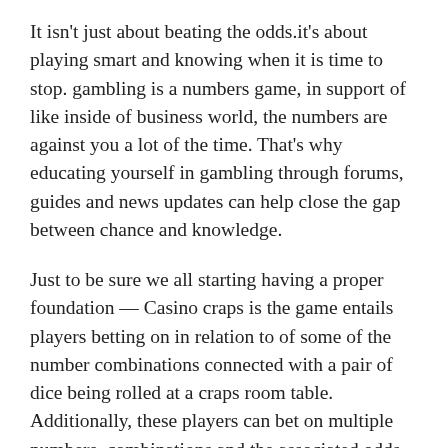It isn't just about beating the odds.it's about playing smart and knowing when it is time to stop. gambling is a numbers game, in support of like inside of business world, the numbers are against you a lot of the time. That's why educating yourself in gambling through forums, guides and news updates can help close the gap between chance and knowledge.
Just to be sure we all starting having a proper foundation — Casino craps is the game entails players betting on in relation to of some of the number combinations connected with a pair of dice being rolled at a craps room table. Additionally, these players can bet on multiple numbers, combinations and the associated odds available.
Therefore these bonuses give the players an effective way to rotate income and risking their money yet your rooms with. The online casinos make it available